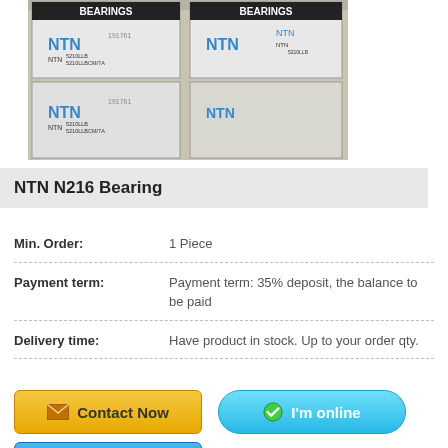[Figure (photo): Photo of multiple white NTN bearing boxes stacked, showing NTN branding and model numbers like 5210LLB 5210LLBCM/7A]
NTN N216 Bearing
| Field | Value |
| --- | --- |
| Min. Order: | 1 Piece |
| Payment term: | Payment term: 35% deposit, the balance to be paid |
| Delivery time: | Have product in stock. Up to your order qty. |
[Figure (other): Contact Now button (yellow/orange gradient with mail icon)]
[Figure (other): I'm online button (blue gradient with green check icon)]
[Figure (other): I'm online button (blue with QQ penguin icon)]